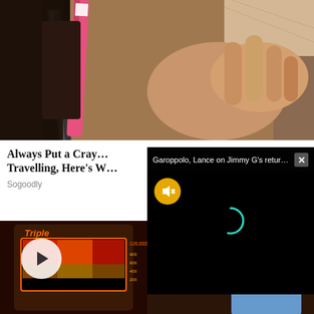[Figure (photo): Close-up of a hand holding a Crayola crayon near a wallet or leather object]
Always Put a Cray... Travelling, Here's W...
Sogoodly
[Figure (screenshot): Video overlay: 'Garoppolo, Lance on Jimmy G's return t...' with close button X, mute icon and loading spinner on black background]
[Figure (photo): Slot machine 'Triple ...' with a man in blue shirt visible on the right side, casino setting]